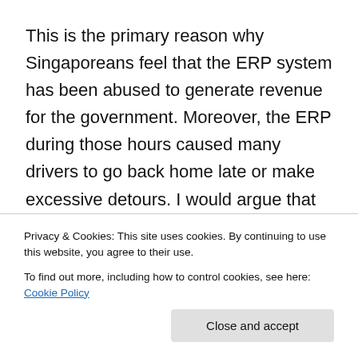This is the primary reason why Singaporeans feel that the ERP system has been abused to generate revenue for the government. Moreover, the ERP during those hours caused many drivers to go back home late or make excessive detours. I would argue that the cost to the economy is greater as there are more pollution and energy loss associated to the longer roads planned by the drivers to avoid ERP. The ERP reduced the disposable income and reduced the amount that Singaporean spent on the economy reducing the multiplier effect of money. And finally, by encouraging the people to go back later, the … use it to control traffic congestions as it was…
Privacy & Cookies: This site uses cookies. By continuing to use this website, you agree to their use.
To find out more, including how to control cookies, see here: Cookie Policy